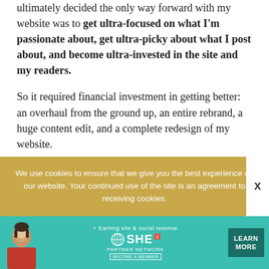ultimately decided the only way forward with my website was to get ultra-focused on what I'm passionate about, get ultra-picky about what I post about, and become ultra-invested in the site and my readers.
So it required financial investment in getting better: an overhaul from the ground up, an entire rebrand, a huge content edit, and a complete redesign of my website.
And it's been in the works for seven months now.
We use cookies to ensure that we give you the best experience on our website. Your continued use of the site is an agreement to receiving cookies.
[Figure (screenshot): Advertisement banner for SHE Partner Network — Earning site & social revenue, with a Learn More button and Become a Member text]